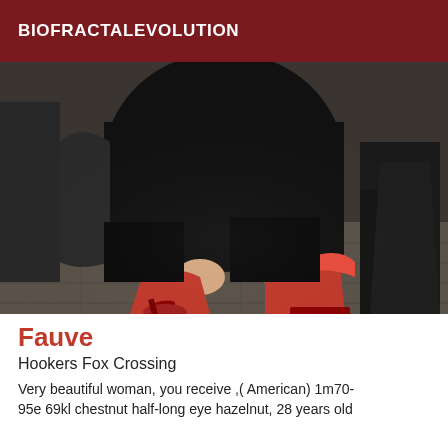BIOFRACTALEVOLUTION
[Figure (photo): Close-up photo of a person crouching down wearing red high heels on a stone pavement, with other people visible in the background]
Fauve
Hookers Fox Crossing
Very beautiful woman, you receive ,( American) 1m70-95e 69kl chestnut half-long eye hazelnut, 28 years old